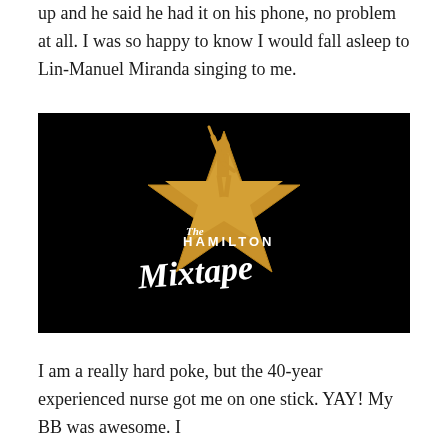up and he said he had it on his phone, no problem at all. I was so happy to know I would fall asleep to Lin-Manuel Miranda singing to me.
[Figure (logo): The Hamilton Mixtape album cover — black background with a golden star and silhouette of a person raising their arm, overlaid with calligraphic white text reading 'The Hamilton Mixtape']
I am a really hard poke, but the 40-year experienced nurse got me on one stick. YAY! My BB was awesome. I